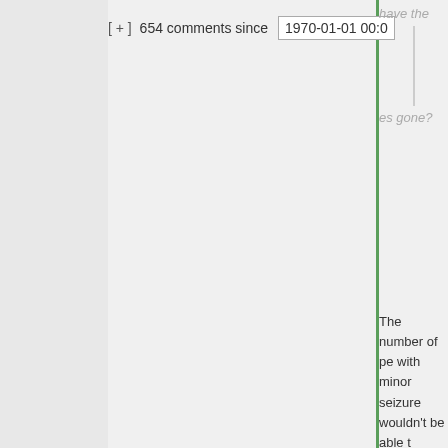[ + ] 654 comments since 1970-01-01 00:0[0]
have the
es gone?
The number of pe with minor seizure wouldn't be able t during a public ca is not easy to qua the doctors on Ha suggest, it wouldn possible to diagno minor seizure fro So it might be pos that nearly anyon minor seizures co them.
Look my estimate